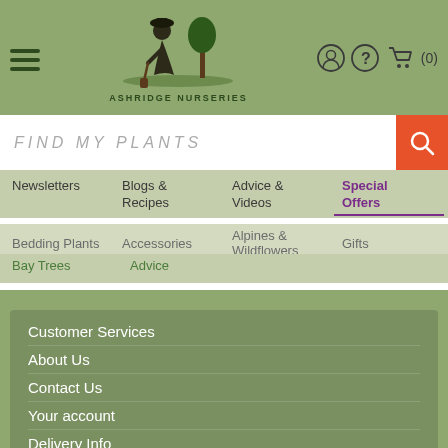[Figure (logo): Ashridge Nurseries logo with gardener silhouette and tree, hamburger menu icon, user icon, help icon, cart icon showing (0)]
FIND MY PLANTS
Newsletters   Blogs & Recipes   Advice & Videos   Special Offers
Bedding Plants   Accessories   Alpines & Wildflowers   Gifts
Bay Trees   Advice
Customer Services
About Us
Contact Us
Your account
Delivery Info
Terms and Conditions
Policy